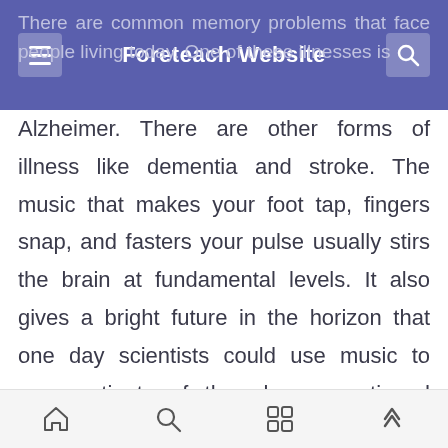Foreteach Website
There are common memory problems that face people living today. One of these illnesses is Alzheimer. There are other forms of illness like dementia and stroke. The music that makes your foot tap, fingers snap, and fasters your pulse usually stirs the brain at fundamental levels. It also gives a bright future in the horizon that one day scientists could use music to cure patients of the above mentioned illnesses. It is being said that one day scientists might be able to retune damaged mins by the use of rhythms, melody and harmony. Music can be sufficient to simulate